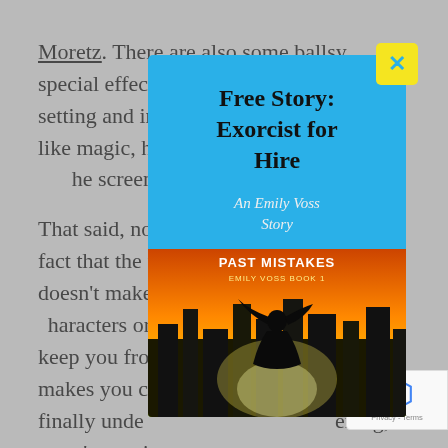Moretz. There are also some ballsy special effects that took a historical war setting and injected some almost-Marvel-like magic, however unre[…] he screen at the time.
That said, nor[…]rom the fact that the film f[…]e. It doesn't make you car[…]haracters or the outcome.[…]l to keep you from gue[…]ng on makes you ca[…]gs. When I finally under[…]ening, I wasn't emotio[…]outcome
[Figure (other): Pop-up modal advertisement. Blue background with yellow X close button. Title: 'Free Story: Exorcist for Hire'. Subtitle: 'An Emily Voss Story'. Shows book cover for 'Past Mistakes: Emily Voss Book 1' with silhouette of woman with flowing hair against orange/yellow city background.]
The film does[…]to be. It's a
[Figure (other): reCAPTCHA badge in bottom right corner with Privacy - Terms text.]